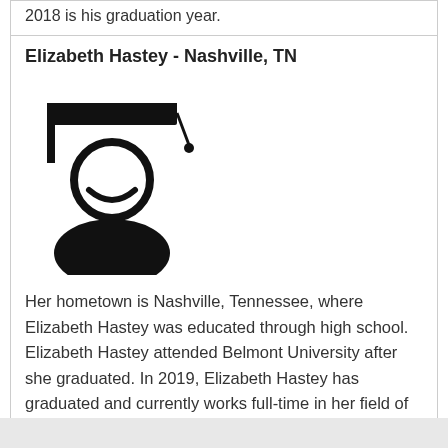2018 is his graduation year.
Elizabeth Hastey - Nashville, TN
[Figure (illustration): Graduation cap and gown icon — silhouette of a person wearing a mortarboard hat]
Her hometown is Nashville, Tennessee, where Elizabeth Hastey was educated through high school. Elizabeth Hastey attended Belmont University after she graduated. In 2019, Elizabeth Hastey has graduated and currently works full-time in her field of studies.
1 ... 142 143 144 145 146 147 148 ... 386